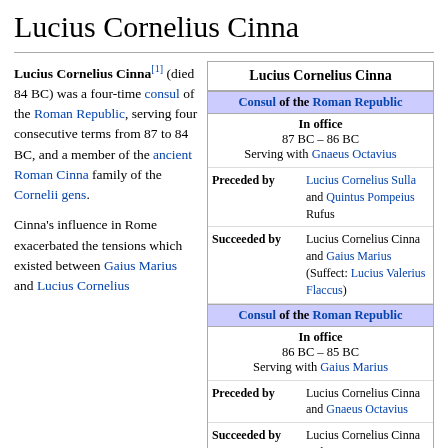Lucius Cornelius Cinna
Lucius Cornelius Cinna[1] (died 84 BC) was a four-time consul of the Roman Republic, serving four consecutive terms from 87 to 84 BC, and a member of the ancient Roman Cinna family of the Cornelii gens.
Cinna's influence in Rome exacerbated the tensions which existed between Gaius Marius and Lucius Cornelius
| Lucius Cornelius Cinna |
| Consul of the Roman Republic |
| In office | 87 BC – 86 BC | Serving with Gnaeus Octavius |
| Preceded by | Lucius Cornelius Sulla and Quintus Pompeius Rufus |
| Succeeded by | Lucius Cornelius Cinna and Gaius Marius
(Suffect: Lucius Valerius Flaccus) |
| Consul of the Roman Republic |
| In office | 86 BC – 85 BC | Serving with Gaius Marius |
| Preceded by | Lucius Cornelius Cinna and Gnaeus Octavius |
| Succeeded by | Lucius Cornelius Cinna and |